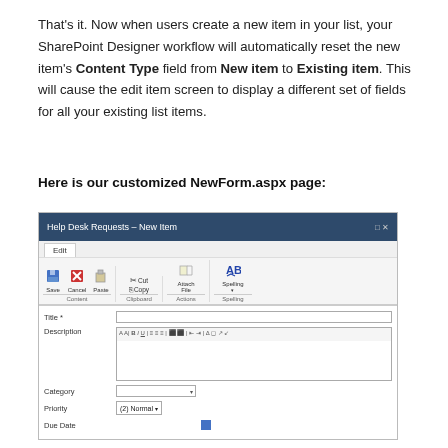That’s it. Now when users create a new item in your list, your SharePoint Designer workflow will automatically reset the new item’s Content Type field from New item to Existing item. This will cause the edit item screen to display a different set of fields for all your existing list items.
Here is our customized NewForm.aspx page:
[Figure (screenshot): Screenshot of a SharePoint Help Desk Requests – New Item form showing fields: Title, Description (with rich text toolbar), Category (dropdown), Priority ((2) Normal dropdown), Due Date (with calendar icon), and Save/Cancel buttons at the bottom. The form has a dark blue title bar and an Edit ribbon with Save, Cancel, Paste, Cut, Copy, Attach File, Spelling icons.]